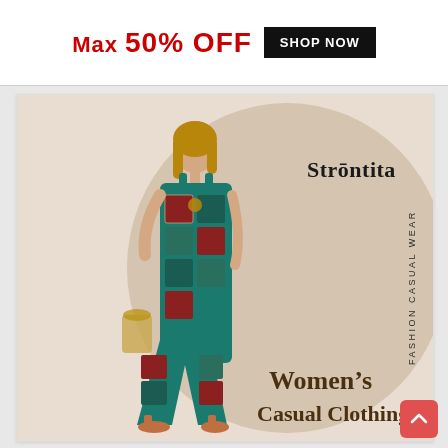[Figure (illustration): Advertisement banner with red bold text 'Max 50% OFF' and a black 'SHOP NOW' button on white background]
[Figure (photo): Strontita brand fashion ad showing a woman wearing a teal/blue boho-style patchwork print jumpsuit with wide legs and side pockets, holding a straw bag. Text overlay reads 'Strontita', 'FASHION CASUAL WEAR' (vertical), and 'Women's Casual Clothing' in dark gold/brown serif font on a beige background with semicircle design element.]